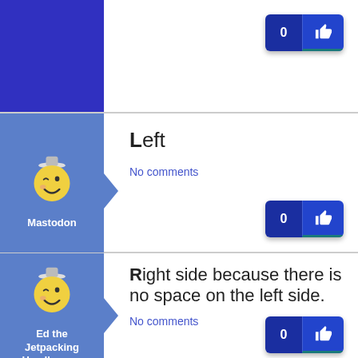[Figure (screenshot): Partial top row showing a dark blue sidebar and a like button (count 0) at top right]
[Figure (illustration): Mastodon mascot: winking yellow smiley face with a small hat, on blue background with label 'Mastodon']
Left
No comments
[Figure (screenshot): Like button showing count 0 and thumbs-up icon]
[Figure (illustration): Ed the Jetpacking Headbanger mascot: winking yellow smiley face with small hat, on blue background]
Right side because there is no space on the left side.
No comments
[Figure (screenshot): Like button showing count 0 and thumbs-up icon]